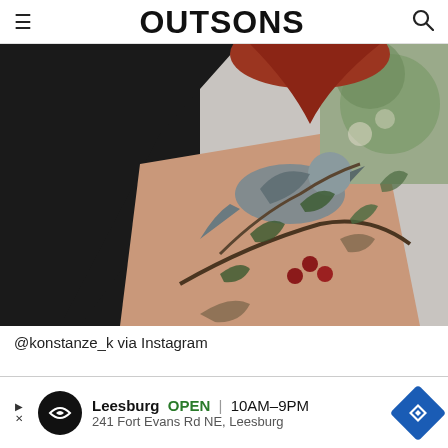OUTSONS
[Figure (photo): Close-up photograph of a person's upper arm showing an intricate botanical/floral tattoo with a bird, flowers, and red berries on a branch, done in a detailed illustrative style. The person is wearing a black top and has red hair. Background is grey.]
@konstanze_k via Instagram